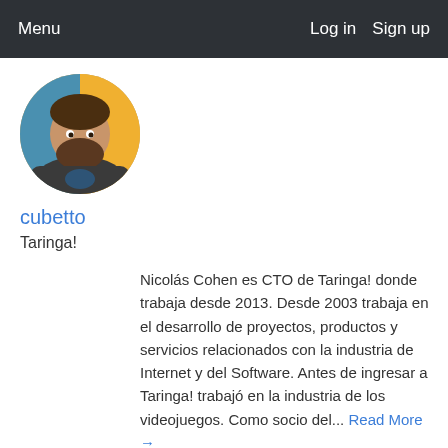Menu   Log in   Sign up
[Figure (photo): Circular profile photo of a bearded man wearing a dark t-shirt with a graphic, arms crossed, in a colorful indoor setting.]
cubetto
Taringa!
Nicolás Cohen es CTO de Taringa! donde trabaja desde 2013. Desde 2003 trabaja en el desarrollo de proyectos, productos y servicios relacionados con la industria de Internet y del Software. Antes de ingresar a Taringa! trabajó en la industria de los videojuegos. Como socio del... Read More →